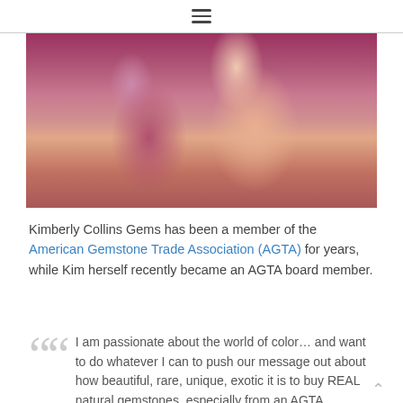☰
[Figure (photo): Close-up photo of two women, one wearing a purple/magenta top with long grey-streaked hair]
Kimberly Collins Gems has been a member of the American Gemstone Trade Association (AGTA) for years, while Kim herself recently became an AGTA board member.
I am passionate about the world of color… and want to do whatever I can to push our message out about how beautiful, rare, unique, exotic it is to buy REAL natural gemstones, especially from an AGTA